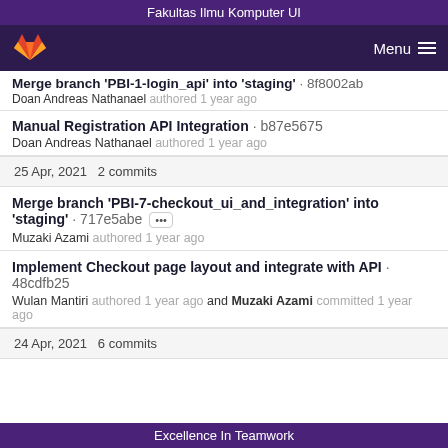Fakultas Ilmu Komputer UI
[Figure (logo): GitLab fox logo and Menu hamburger icon on dark purple nav bar]
Merge branch 'PBI-1-login_api' into 'staging' · 8f8002db
Doan Andreas Nathanael authored 1 year ago
Manual Registration API Integration · b87e5675
Doan Andreas Nathanael authored 1 year ago
25 Apr, 2021 2 commits
Merge branch 'PBI-7-checkout_ui_and_integration' into 'staging' · 717e5abe
Muzaki Azami authored 1 year ago
Implement Checkout page layout and integrate with API · 48cdfb25
Wulan Mantiri authored 1 year ago and Muzaki Azami committed 1 year ago
24 Apr, 2021 6 commits
Excellence In Teamwork